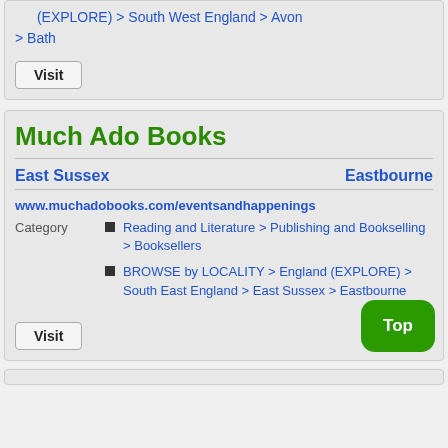(EXPLORE) > South West England > Avon > Bath
Visit
Much Ado Books
East Sussex    Eastbourne
www.muchadobooks.com/eventsandhappenings
Category
Reading and Literature > Publishing and Bookselling > Booksellers
BROWSE by LOCALITY > England (EXPLORE) > South East England > East Sussex > Eastbourne
Visit
Top